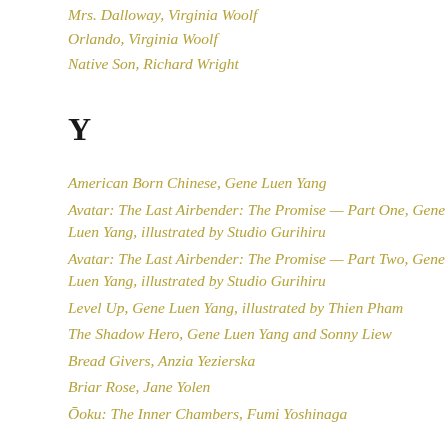Mrs. Dalloway, Virginia Woolf
Orlando, Virginia Woolf
Native Son, Richard Wright
Y
American Born Chinese, Gene Luen Yang
Avatar: The Last Airbender: The Promise — Part One, Gene Luen Yang, illustrated by Studio Gurihiru
Avatar: The Last Airbender: The Promise — Part Two, Gene Luen Yang, illustrated by Studio Gurihiru
Level Up, Gene Luen Yang, illustrated by Thien Pham
The Shadow Hero, Gene Luen Yang and Sonny Liew
Bread Givers, Anzia Yezierska
Briar Rose, Jane Yolen
Ōoku: The Inner Chambers, Fumi Yoshinaga